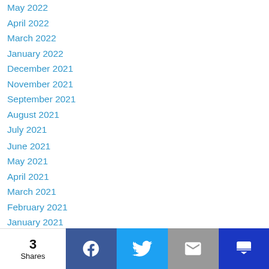May 2022
April 2022
March 2022
January 2022
December 2021
November 2021
September 2021
August 2021
July 2021
June 2021
May 2021
April 2021
March 2021
February 2021
January 2021
December 2020
November 2020
October 2020
September 2020
3 Shares | Facebook | Twitter | Email | Other